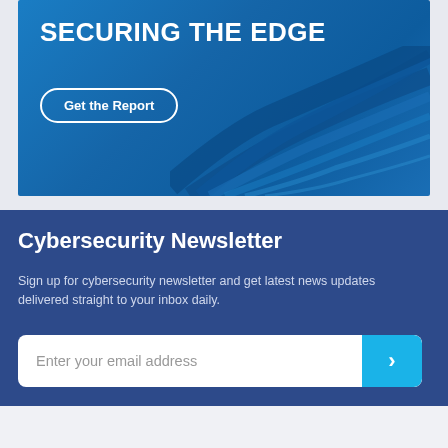[Figure (illustration): Blue gradient advertisement banner with bold white text 'SECURING THE EDGE' and a 'Get the Report' button with white rounded border, with abstract flowing wave lines in the background]
Cybersecurity Newsletter
Sign up for cybersecurity newsletter and get latest news updates delivered straight to your inbox daily.
Enter your email address